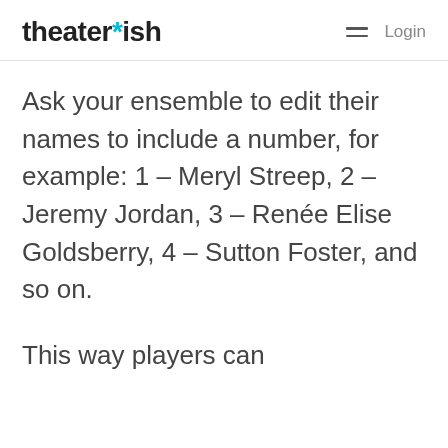theater*ish   Login
Ask your ensemble to edit their names to include a number, for example: 1 – Meryl Streep, 2 – Jeremy Jordan, 3 – Renée Elise Goldsberry, 4 – Sutton Foster, and so on.
This way players can